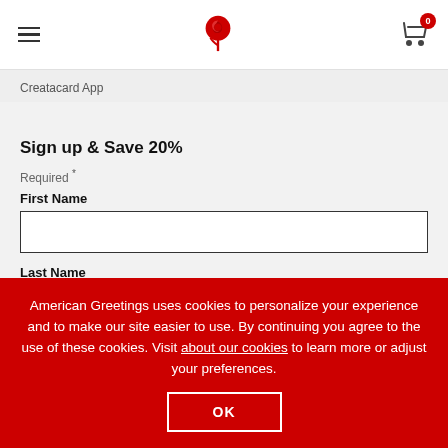[Figure (logo): American Greetings rose logo in red, centered in navigation header]
Creatacard App
Sign up & Save 20%
Required *
First Name
Last Name
American Greetings uses cookies to personalize your experience and to make our site easier to use. By continuing you agree to the use of these cookies. Visit about our cookies to learn more or adjust your preferences.